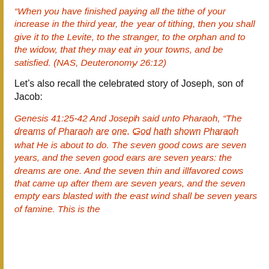“When you have finished paying all the tithe of your increase in the third year, the year of tithing, then you shall give it to the Levite, to the stranger, to the orphan and to the widow, that they may eat in your towns, and be satisfied. (NAS, Deuteronomy 26:12)
Let’s also recall the celebrated story of Joseph, son of Jacob:
Genesis 41:25-42 And Joseph said unto Pharaoh, “The dreams of Pharaoh are one. God hath shown Pharaoh what He is about to do. The seven good cows are seven years, and the seven good ears are seven years: the dreams are one. And the seven thin and illfavored cows that came up after them are seven years, and the seven empty ears blasted with the east wind shall be seven years of famine. This is the thing which I have spoken unto Pharaoh: what